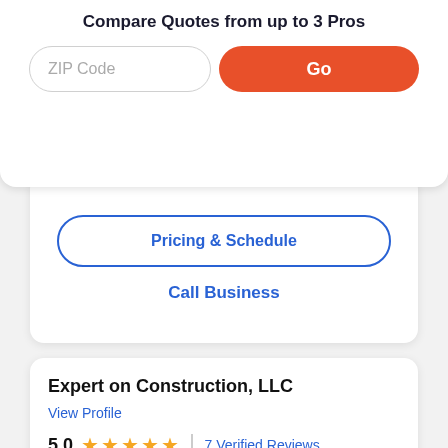Compare Quotes from up to 3 Pros
ZIP Code
Go
Pricing & Schedule
Call Business
Expert on Construction, LLC
View Profile
5.0  ★★★★★  |  7 Verified Reviews
Elite Service
Free Estimates
Posted by Amanda K. on 05/15/2022